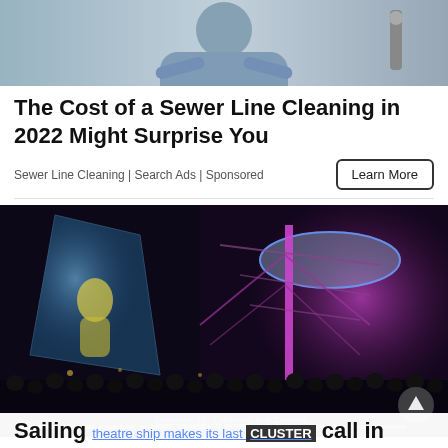[Figure (photo): Photo of a person with arms crossed, appears to be a plumber or serviceman in blue shirt]
The Cost of a Sewer Line Cleaning in 2022 Might Surprise You
Sewer Line Cleaning | Search Ads | Sponsored
Learn More
[Figure (photo): Night-time outdoor theatrical event showing illuminated kite/sail structures with projections, a pink/purple lit tall structure like a ship mast, and a large crowd in the foreground]
Sailing theatre ship makes its last port call in